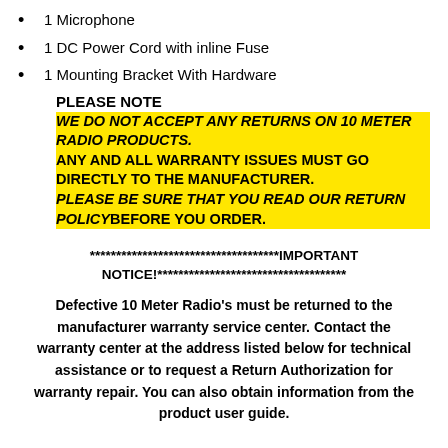1 Microphone
1 DC Power Cord with inline Fuse
1 Mounting Bracket With Hardware
PLEASE NOTE
WE DO NOT ACCEPT ANY RETURNS ON 10 METER RADIO PRODUCTS.
ANY AND ALL WARRANTY ISSUES MUST GO DIRECTLY TO THE MANUFACTURER.
PLEASE BE SURE THAT YOU READ OUR RETURN POLICY BEFORE YOU ORDER.
************************************IMPORTANT NOTICE!************************************
Defective 10 Meter Radio's must be returned to the manufacturer warranty service center. Contact the warranty center at the address listed below for technical assistance or to request a Return Authorization for warranty repair. You can also obtain information from the product user guide.